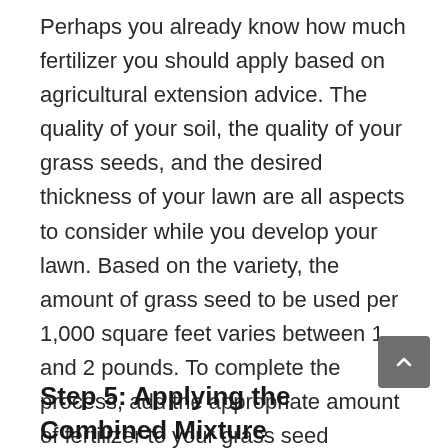Perhaps you already know how much fertilizer you should apply based on agricultural extension advice. The quality of your soil, the quality of your grass seeds, and the desired thickness of your lawn are all aspects to consider while you develop your lawn. Based on the variety, the amount of grass seed to be used per 1,000 square feet varies between 1 and 2 pounds. To complete the process, add the appropriate amount of fertilizer to your grass seed mixture. Then, thoroughly combine all of the ingredients in a big bucket or container
Step 5: Applying the Combined Mixture